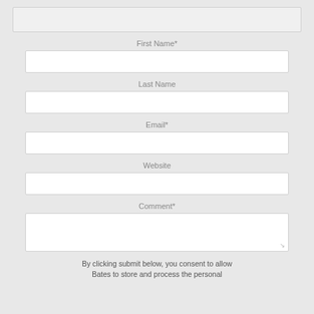[Figure (other): Empty text input field at top of form (no label visible)]
First Name*
[Figure (other): First Name text input field]
Last Name
[Figure (other): Last Name text input field]
Email*
[Figure (other): Email text input field]
Website
[Figure (other): Website text input field]
Comment*
[Figure (other): Comment textarea field]
By clicking submit below, you consent to allow Bates to store and process the personal